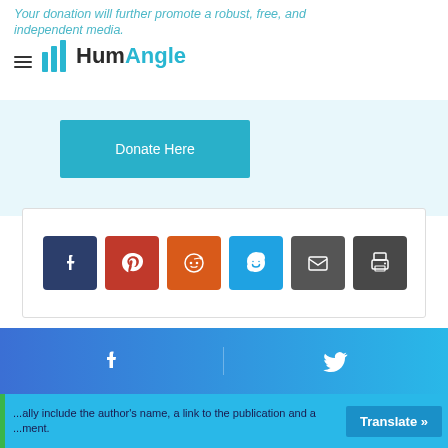Your donation will further promote a robust, free, and independent media.
[Figure (logo): HumAngle logo with bar chart icon and hamburger menu icon]
Donate Here
[Figure (infographic): Social share buttons: Tumblr, Pinterest, Reddit, Skype, Email, Print]
Subscribe to our telegram channel to get the stories on your phone once they arrive!
Subscribe
[Figure (infographic): Bottom bar with Facebook and Twitter share icons]
...ally include the author's name, a link to the publication and a ...ment.